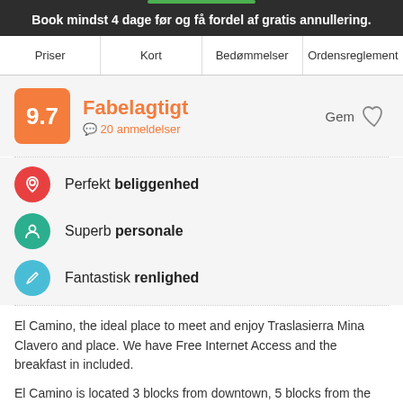Book mindst 4 dage før og få fordel af gratis annullering.
Priser | Kort | Bedømmelser | Ordensreglement
9.7 Fabelagtigt 20 anmeldelser
Perfekt beliggenhed
Superb personale
Fantastisk renlighed
El Camino, the ideal place to meet and enjoy Traslasierra Mina Clavero and place. We have Free Internet Access and the breakfast in included.
El Camino is located 3 blocks from downtown, 5 blocks from the bus terminal, 3 blocks Mina Clavero River and minutes from restaurants, bars and discos. Mina Clavero Argentina is a city of the province of Cordoba, is the resort Traslasierra Valley. Traslasierra Valley is